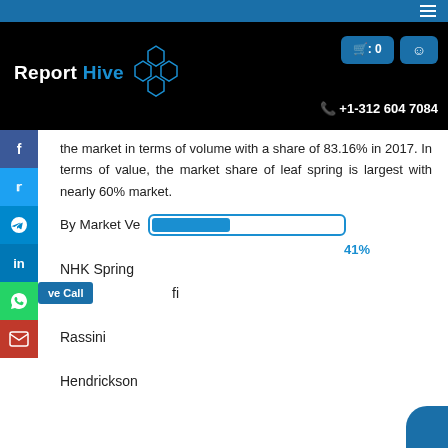Report Hive — +1-312 604 7084
the market in terms of volume with a share of 83.16% in 2017. In terms of value, the market share of leaf spring is largest with nearly 60% market.
By Market Ve[ndor]
[Figure (other): Horizontal progress bar at 41% fill, outlined in blue]
41%
NHK Spring
fi
Rassini
Hendrickson